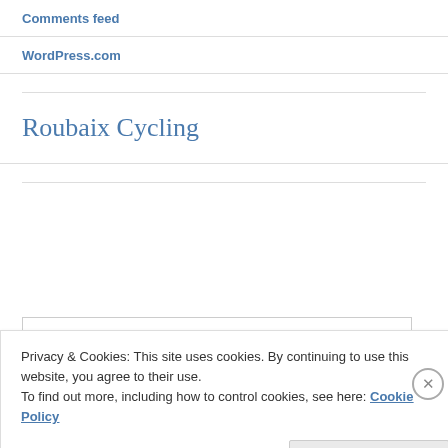Comments feed
WordPress.com
Roubaix Cycling
Search …
Privacy & Cookies: This site uses cookies. By continuing to use this website, you agree to their use.
To find out more, including how to control cookies, see here: Cookie Policy
Close and accept